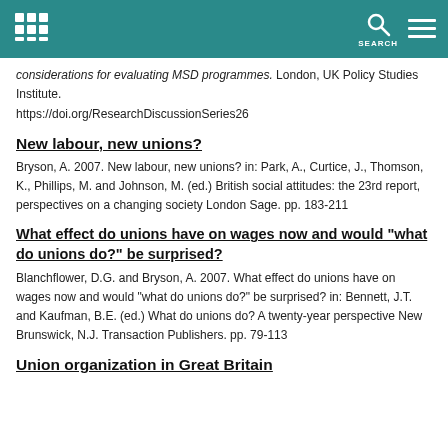SEARCH
considerations for evaluating MSD programmes. London, UK Policy Studies Institute. https://doi.org/ResearchDiscussionSeries26
New labour, new unions?
Bryson, A. 2007. New labour, new unions? in: Park, A., Curtice, J., Thomson, K., Phillips, M. and Johnson, M. (ed.) British social attitudes: the 23rd report, perspectives on a changing society London Sage. pp. 183-211
What effect do unions have on wages now and would "what do unions do?" be surprised?
Blanchflower, D.G. and Bryson, A. 2007. What effect do unions have on wages now and would "what do unions do?" be surprised? in: Bennett, J.T. and Kaufman, B.E. (ed.) What do unions do? A twenty-year perspective New Brunswick, N.J. Transaction Publishers. pp. 79-113
Union organization in Great Britain